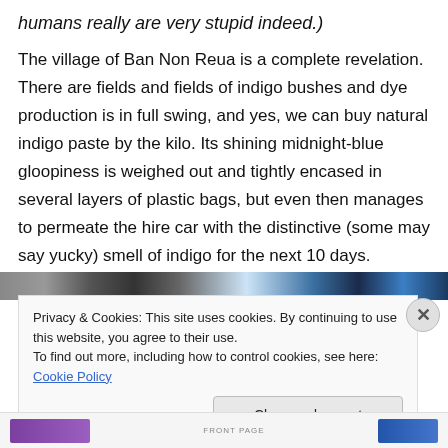humans really are very stupid indeed.)
The village of Ban Non Reua is a complete revelation. There are fields and fields of indigo bushes and dye production is in full swing, and yes, we can buy natural indigo paste by the kilo. Its shining midnight-blue gloopiness is weighed out and tightly encased in several layers of plastic bags, but even then manages to permeate the hire car with the distinctive (some may say yucky) smell of indigo for the next 10 days.
[Figure (photo): Partial photo strip visible behind cookie banner]
Privacy & Cookies: This site uses cookies. By continuing to use this website, you agree to their use.
To find out more, including how to control cookies, see here: Cookie Policy
Close and accept